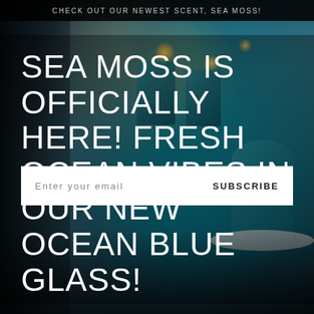CHECK OUT OUR NEWEST SCENT, SEA MOSS!
[Figure (photo): Background photo of teal/ocean blue candles lit and glowing, some with smoke, arranged on a marble surface. Blurred bokeh background with blue and warm tones.]
SEA MOSS IS OFFICIALLY HERE! FRESH OCEAN VIBES IN OUR NEW OCEAN BLUE GLASS!
Enter your email   SUBSCRIBE